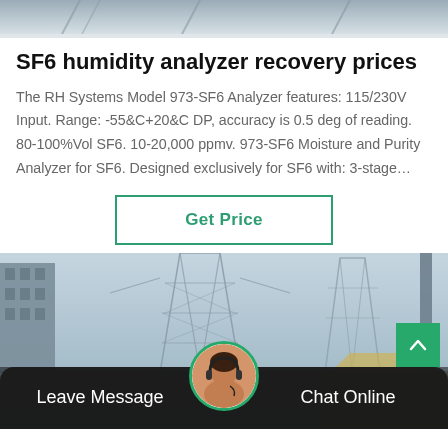[Figure (photo): Partial top image of industrial/infrastructure scene, cropped at top of page]
SF6 humidity analyzer recovery prices
The RH Systems Model 973-SF6 Analyzer features: 115/230V Input. Range: -55&C+20&C DP, accuracy is 0.5 deg of reading. 80-100%Vol SF6. 10-20,000 ppmv. 973-SF6 Moisture and Purity Analyzer for SF6. Designed exclusively for SF6 with: 3-stage…
[Figure (other): Get Price button with green border]
[Figure (photo): Electrical power transmission towers and industrial infrastructure, bottom section of page with Leave Message and Chat Online bar]